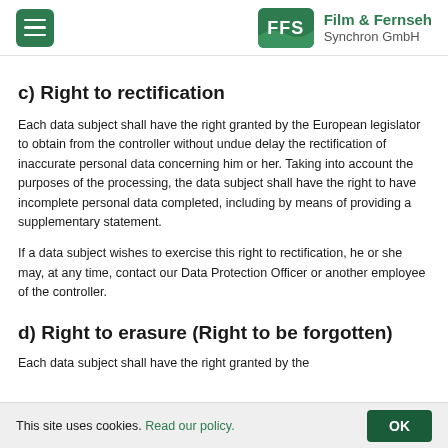FFS Film & Fernseh Synchron GmbH
c) Right to rectification
Each data subject shall have the right granted by the European legislator to obtain from the controller without undue delay the rectification of inaccurate personal data concerning him or her. Taking into account the purposes of the processing, the data subject shall have the right to have incomplete personal data completed, including by means of providing a supplementary statement.
If a data subject wishes to exercise this right to rectification, he or she may, at any time, contact our Data Protection Officer or another employee of the controller.
d) Right to erasure (Right to be forgotten)
Each data subject shall have the right granted by the
This site uses cookies. Read our policy. OK